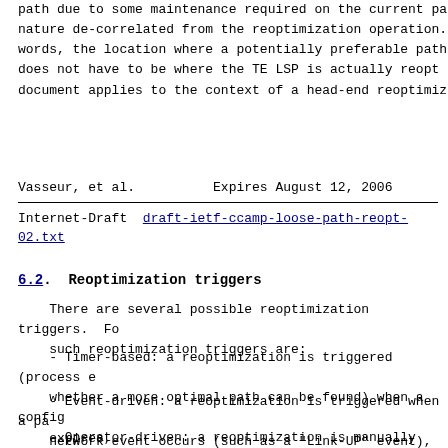path due to some maintenance required on the current pa nature de-correlated from the reoptimization operation. words, the location where a potentially preferable path does not have to be where the TE LSP is actually reopt document applies to the context of a head-end reoptimiz
Vasseur, et al.          Expires August 12, 2006
Internet-Draft   draft-ietf-ccamp-loose-path-reopt-02.txt
6.2.  Reoptimization triggers
There are several possible reoptimization triggers.  Fo such reoptimization triggers are:
- Timer-based: a reoptimization is triggered (process e whether a more optimal path can be found) when a config expires,
- Event-driven: a reoptimization is triggered when a pa network event occurs (such as a "Link-UP" event),
- Operator-driven: a reoptimization is manually trigger Operator.